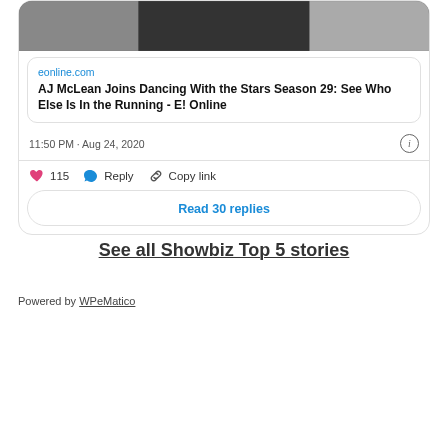[Figure (photo): Photo of people at top of tweet card, partially cropped]
eonline.com
AJ McLean Joins Dancing With the Stars Season 29: See Who Else Is In the Running - E! Online
11:50 PM · Aug 24, 2020
115  Reply  Copy link
Read 30 replies
See all Showbiz Top 5 stories
Powered by WPeMatico